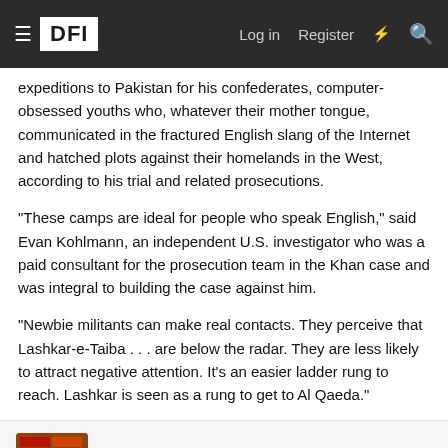DFI | Log in | Register
expeditions to Pakistan for his confederates, computer-obsessed youths who, whatever their mother tongue, communicated in the fractured English slang of the Internet and hatched plots against their homelands in the West, according to his trial and related prosecutions.
"These camps are ideal for people who speak English," said Evan Kohlmann, an independent U.S. investigator who was a paid consultant for the prosecution team in the Khan case and was integral to building the case against him.
"Newbie militants can make real contacts. They perceive that Lashkar-e-Taiba . . . are below the radar. They are less likely to attract negative attention. It's an easier ladder rung to reach. Lashkar is seen as a rung to get to Al Qaeda."
nitesh
Mob Control Manager | Senior Member